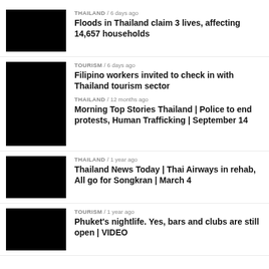[Figure (photo): Black thumbnail image for Thailand floods article]
THAILAND / 6 days ago
Floods in Thailand claim 3 lives, affecting 14,657 households
[Figure (photo): Black thumbnail image for Filipino workers article]
TOURISM / 6 days ago
Filipino workers invited to check in with Thailand tourism sector
THAILAND / 12 months ago
Morning Top Stories Thailand | Police to end protests, Human Trafficking | September 14
[Figure (photo): Black thumbnail image for Thailand News Today article]
THAILAND / 1 year ago
Thailand News Today | Thai Airways in rehab, All go for Songkran | March 4
[Figure (photo): Black thumbnail image for Phuket nightlife article]
TOURISM / 1 year ago
Phuket's nightlife. Yes, bars and clubs are still open | VIDEO